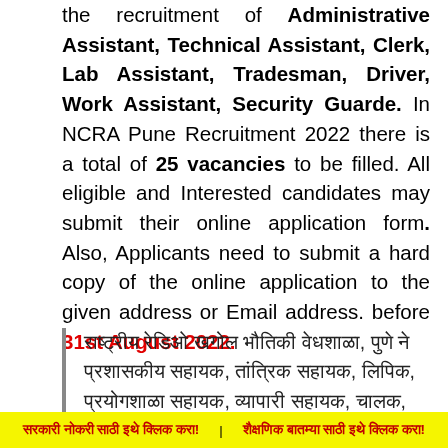the recruitment of Administrative Assistant, Technical Assistant, Clerk, Lab Assistant, Tradesman, Driver, Work Assistant, Security Guarde. In NCRA Pune Recruitment 2022 there is a total of 25 vacancies to be filled. All eligible and Interested candidates may submit their online application form. Also, Applicants need to submit a hard copy of the online application to the given address or Email address. before 31st August 2022.
[Marathi script block quote text about recruitment]
[Marathi footer text] | [Marathi footer text]